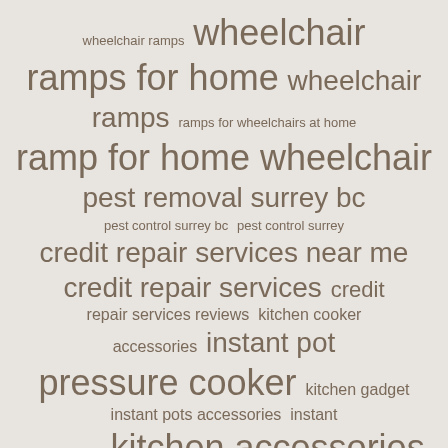[Figure (infographic): Word cloud containing search terms of varying sizes related to wheelchair ramps, pest control, credit repair, kitchen accessories, and social media hacking. Terms include: wheelchair ramps, wheelchair ramps for home, wheelchair ramps, ramps for wheelchairs at home, ramp for home wheelchair, pest removal surrey bc, pest control surrey bc, pest control surrey, credit repair services near me, credit repair services, credit repair services reviews, kitchen cooker accessories, instant pot pressure cooker, kitchen gadget, instant pots accessories, instant pot recipes, kitchen accessories, lurer am news, lurer armenia, Lurer, hack facebook password, hack password online]